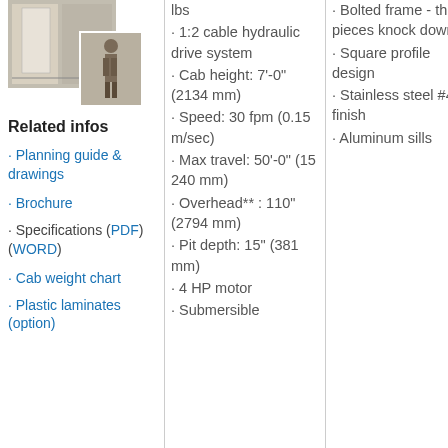[Figure (photo): Photo of an elevator/lift installation showing the cab interior and a person standing next to it]
Related infos
Planning guide & drawings
Brochure
Specifications (PDF) (WORD)
Cab weight chart
Plastic laminates (option)
lbs
1:2 cable hydraulic drive system
Cab height: 7'-0" (2134 mm)
Speed: 30 fpm (0.15 m/sec)
Max travel: 50'-0" (15 240 mm)
Overhead** : 110" (2794 mm)
Pit depth: 15" (381 mm)
4 HP motor
Submersible
Bolted frame - three pieces knock down
Square profile design
Stainless steel #4 finish
Aluminum sills